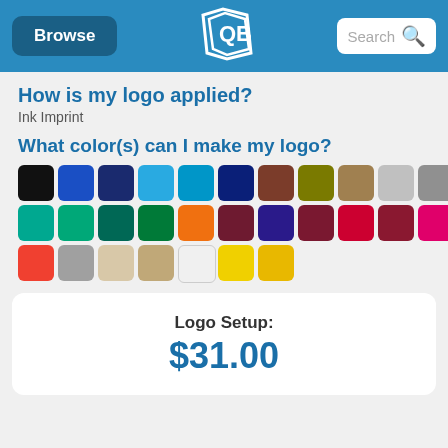Browse | [Logo] | Search
How is my logo applied?
Ink Imprint
What color(s) can I make my logo?
[Figure (illustration): Grid of 28 color swatches showing available logo ink colors: black, blue, navy, light blue, sky blue, dark navy, brown, olive, tan, light gray, gray, teal, medium green, dark teal, green, orange, maroon, purple, dark red, red, dark maroon, hot pink, red-orange, gray, beige, tan/khaki, white, yellow, golden yellow]
Logo Setup:
$31.00